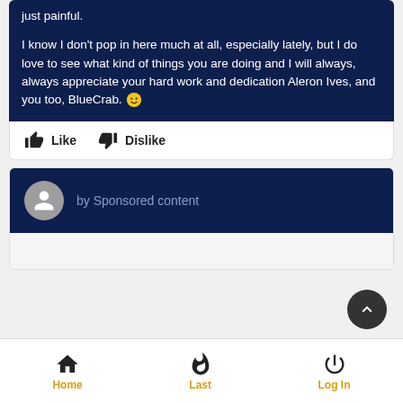just painful.

I know I don't pop in here much at all, especially lately, but I do love to see what kind of things you are doing and I will always, always appreciate your hard work and dedication Aleron Ives, and you too, BlueCrab. 🙂
👍 Like   👎 Dislike
by Sponsored content
Home   Last   Log In